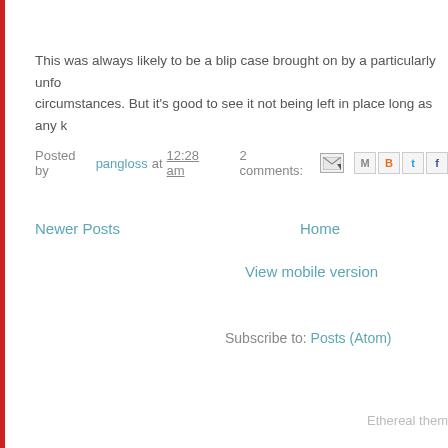This was always likely to be a blip case brought on by a particularly unfo circumstances. But it's good to see it not being left in place long as any k
Posted by pangloss at 12:28 am  2 comments:
Newer Posts
Home
View mobile version
Subscribe to: Posts (Atom)
Ethereal them